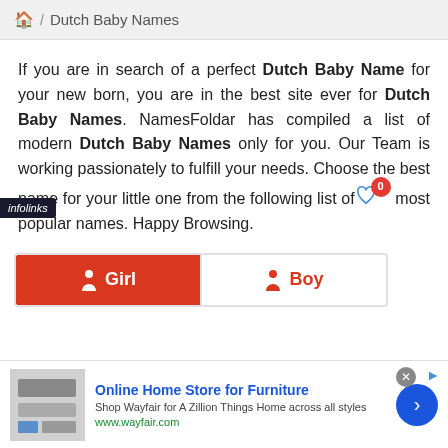🏠 / Dutch Baby Names
If you are in search of a perfect Dutch Baby Name for your new born, you are in the best site ever for Dutch Baby Names. NamesFoldar has compiled a list of modern Dutch Baby Names only for you. Our Team is working passionately to fulfill your needs. Choose the best name for your little one from the following list of most popular names. Happy Browsing.
[Figure (screenshot): Girl and Boy tab buttons: Girl tab is active (red background, white text with girl icon), Boy tab is inactive (white background, red text with boy icon)]
[Figure (screenshot): Advertisement banner: Online Home Store for Furniture - Shop Wayfair for A Zillion Things Home across all styles - www.wayfair.com, with furniture image and blue arrow button]